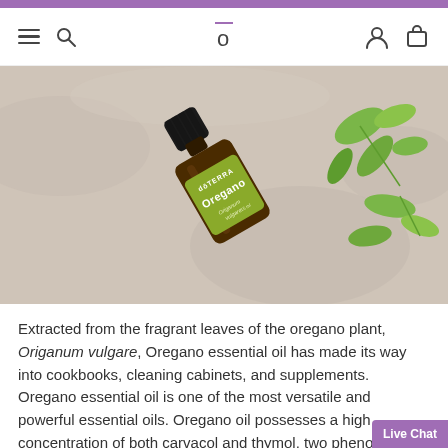doTERRA website navigation header with hamburger menu, search, logo, account, and cart icons
[Figure (photo): A doTERRA Oregano essential oil bottle (Origanum vulgare, 15 ml) lying on a light stone surface surrounded by fresh oregano herb leaves]
Extracted from the fragrant leaves of the oregano plant, Origanum vulgare, Oregano essential oil has made its way into cookbooks, cleaning cabinets, and supplements. Oregano essential oil is one of the most versatile and powerful essential oils. Oregano oil possesses a high concentration of both carvacol and thymol, two phenol chemicals with cleans